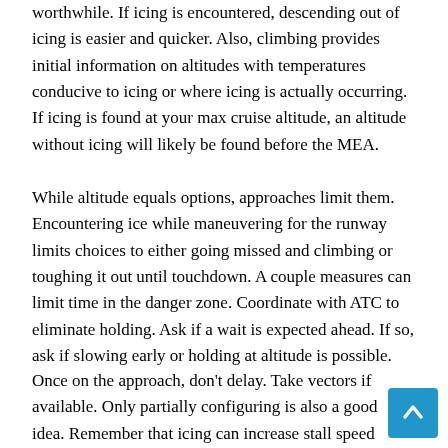worthwhile. If icing is encountered, descending out of icing is easier and quicker. Also, climbing provides initial information on altitudes with temperatures conducive to icing or where icing is actually occurring. If icing is found at your max cruise altitude, an altitude without icing will likely be found before the MEA.
While altitude equals options, approaches limit them. Encountering ice while maneuvering for the runway limits choices to either going missed and climbing or toughing it out until touchdown. A couple measures can limit time in the danger zone. Coordinate with ATC to eliminate holding. Ask if a wait is expected ahead. If so, ask if slowing early or holding at altitude is possible.
Once on the approach, don't delay. Take vectors if available. Only partially configuring is also a good idea. Remember that icing can increase stall speed and extending flaps raises the